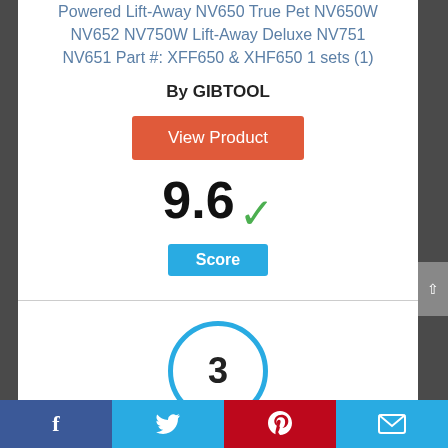Powered Lift-Away NV650 True Pet NV650W NV652 NV750W Lift-Away Deluxe NV751 NV651 Part #: XFF650 & XHF650 1 sets (1)
By GIBTOOL
View Product
9.6 Score
3
Facebook Twitter Pinterest Email